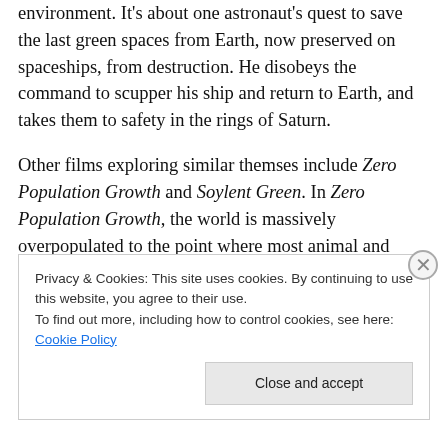environment. It's about one astronaut's quest to save the last green spaces from Earth, now preserved on spaceships, from destruction. He disobeys the command to scupper his ship and return to Earth, and takes them to safety in the rings of Saturn.
Other films exploring similar themses include Zero Population Growth and Soylent Green. In Zero Population Growth, the world is massively overpopulated to the point where most animal and plant species, including domestic pets, have become extinct. The government therefore mandates a total cessation of reproduction for a
Privacy & Cookies: This site uses cookies. By continuing to use this website, you agree to their use.
To find out more, including how to control cookies, see here: Cookie Policy
Close and accept